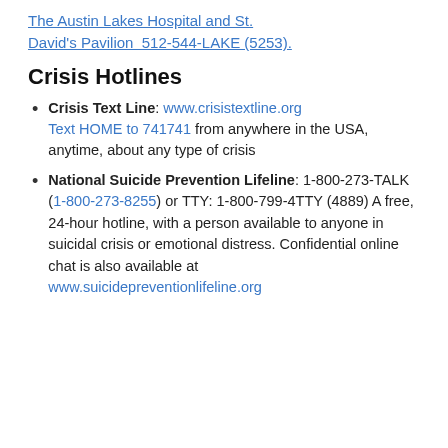The Austin Lakes Hospital and St. David's Pavilion  512-544-LAKE (5253).
Crisis Hotlines
Crisis Text Line: www.crisistextline.org Text HOME to 741741 from anywhere in the USA, anytime, about any type of crisis
National Suicide Prevention Lifeline: 1-800-273-TALK (1-800-273-8255) or TTY: 1-800-799-4TTY (4889) A free, 24-hour hotline, with a person available to anyone in suicidal crisis or emotional distress. Confidential online chat is also available at www.suicidepreventionlifeline.org